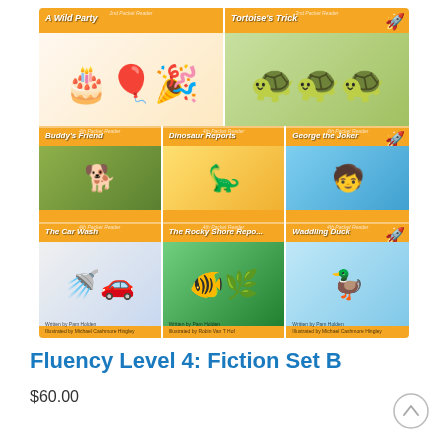[Figure (illustration): A collage of 8 children's book covers from 'Fluency Level 4: Fiction Set B'. Top row: 'A Wild Party' (orange cover with birthday cake illustration) and 'Tortoise's Trick' (orange cover with tortoises illustration). Middle row: 'Buddy's Friend' (dog illustration), 'Dinosaur Reports' (dinosaur illustration), 'George the Joker' (children playing illustration). Bottom row: 'The Car Wash' (child in car wash illustration), 'The Rocky Shore Report' (seahorse/ocean illustration), 'Waddling Duck' (duck illustration). All covers are orange with white italic titles.]
Fluency Level 4: Fiction Set B
$60.00